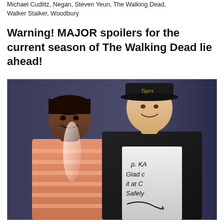Michael Cudlitz, Negan, Steven Yeun, The Walking Dead, Walker Stalker, Woodbury
Warning! MAJOR spoilers for the current season of The Walking Dead lie ahead!
[Figure (photo): A fan photo of a woman in a striped orange top posing with Steven Yeun (wearing a black baseball cap and black jacket over a white t-shirt with an autograph/handwritten message). The photo appears to be an autographed print.]